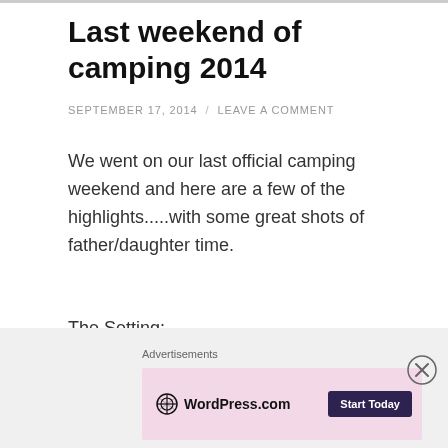Last weekend of camping 2014
SEPTEMBER 17, 2014  /  LEAVE A COMMENT
We went on our last official camping weekend and here are a few of the highlights.....with some great shots of father/daughter time.
The Setting:
[Figure (photo): Outdoor camping setting photo showing a blue-grey sky gradient, appearing to be a landscape/outdoor scene]
Advertisements
[Figure (logo): WordPress.com advertisement banner with logo and Start Today button]